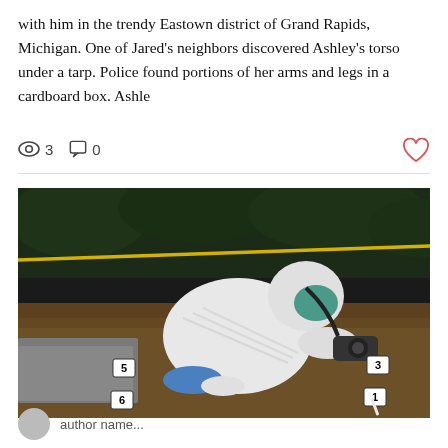with him in the trendy Eastown district of Grand Rapids, Michigan. One of Jared's neighbors discovered Ashley's torso under a tarp. Police found portions of her arms and legs in a cardboard box. Ashle
[Figure (photo): A forensic investigator in a white hazmat suit kneeling on the ground at a crime scene, photographing evidence markers numbered 1, 3, 5, and 6. Yellow police tape is visible in the background among dark foliage.]
author name (truncated)